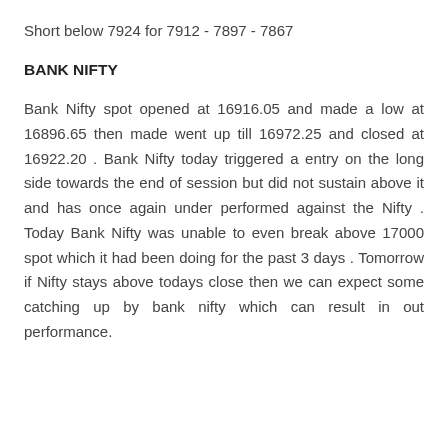Short below 7924 for 7912 - 7897 - 7867
BANK NIFTY
Bank Nifty spot opened at 16916.05 and made a low at 16896.65 then made went up till 16972.25 and closed at 16922.20 . Bank Nifty today triggered a entry on the long side towards the end of session but did not sustain above it and has once again under performed against the Nifty . Today Bank Nifty was unable to even break above 17000 spot which it had been doing for the past 3 days . Tomorrow if Nifty stays above todays close then we can expect some catching up by bank nifty which can result in out performance.